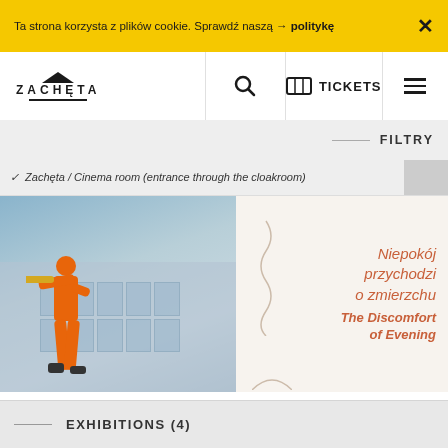Ta strona korzysta z plików cookie. Sprawdź naszą → politykę ×
ZACHĘTA  🔍  🎟 TICKETS  ≡
FILTRY
✓ Zachęta / Cinema room (entrance through the cloakroom)
[Figure (photo): Event promotional image showing a person in an orange jumpsuit playing a trumpet in front of a neoclassical building. Right side shows text: 'Niepokój przychodzi o zmierzchu / The Discomfort of Evening' in orange italic text on light background.]
10.09 (SAT) 19:00
FRANEK WARZYWA & MŁODY BUDDA
📍 Zachęta
EXHIBITIONS (4)